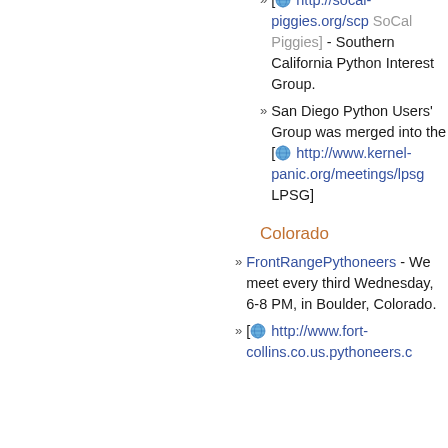[ http://socal-piggies.org/scp SoCal Piggies] - Southern California Python Interest Group.
San Diego Python Users' Group was merged into the [ http://www.kernel-panic.org/meetings/lpsg LPSG]
Colorado
FrontRangePythoneers - We meet every third Wednesday, 6-8 PM, in Boulder, Colorado.
[ http://www.fort-collins.co.us.pythoneers.c Fort Collins Colorado...